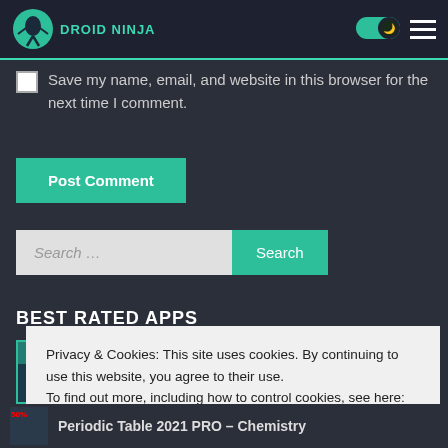DROID NINJA
Save my name, email, and website in this browser for the next time I comment.
Post Comment
Search …
BEST RATED APPS
Privacy & Cookies: This site uses cookies. By continuing to use this website, you agree to their use.
To find out more, including how to control cookies, see here: Cookie Policy
Close and accept
Periodic Table 2021 PRO – Chemistry